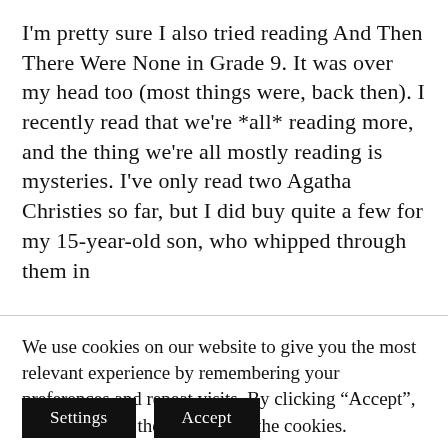I'm pretty sure I also tried reading And Then There Were None in Grade 9. It was over my head too (most things were, back then). I recently read that we're *all* reading more, and the thing we're all mostly reading is mysteries. I've only read two Agatha Christies so far, but I did buy quite a few for my 15-year-old son, who whipped through them in
We use cookies on our website to give you the most relevant experience by remembering your preferences and repeat visits. By clicking “Accept”, you consent to the use of ALL the cookies.
Do not sell my personal information.
Settings
Accept